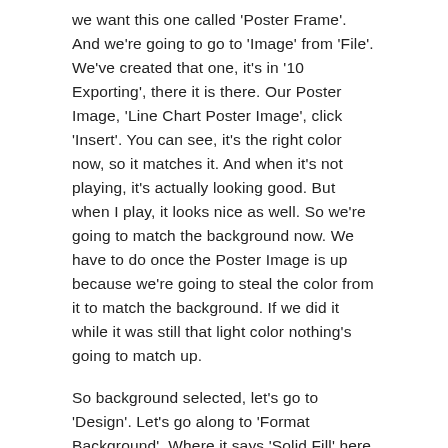we want this one called 'Poster Frame'. And we're going to go to 'Image' from 'File'. We've created that one, it's in '10 Exporting', there it is there. Our Poster Image, 'Line Chart Poster Image', click 'Insert'. You can see, it's the right color now, so it matches it. And when it's not playing, it's actually looking good. But when I play, it looks nice as well. So we're going to match the background now. We have to do once the Poster Image is up because we're going to steal the color from it to match the background. If we did it while it was still that light color nothing's going to match up.
So background selected, let's go to 'Design'. Let's go along to 'Format Background'. Where it says 'Solid Fill' here, 'Color', I'm going to drop this down, get more colors, grab the 'Eyedropper' tool, steal this color, click 'OK'. And now our little video is just a little bit more integrated into my PowerPoint